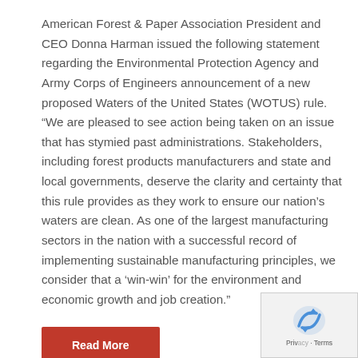American Forest & Paper Association President and CEO Donna Harman issued the following statement regarding the Environmental Protection Agency and Army Corps of Engineers announcement of a new proposed Waters of the United States (WOTUS) rule. “We are pleased to see action being taken on an issue that has stymied past administrations. Stakeholders, including forest products manufacturers and state and local governments, deserve the clarity and certainty that this rule provides as they work to ensure our nation’s waters are clean. As one of the largest manufacturing sectors in the nation with a successful record of implementing sustainable manufacturing principles, we consider that a ‘win-win’ for the environment and economic growth and job creation.”
Read More
CANADA’S FOREST SECTOR
[Figure (logo): Google reCAPTCHA badge overlay in bottom-right corner showing reCAPTCHA logo and Privacy/Terms links]